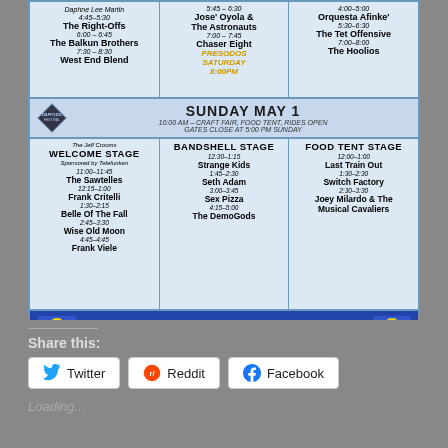[Figure (infographic): Daffodil Festival schedule flyer showing Saturday evening and Sunday May 1 lineup across three stages: Welcome Stage, Bandshell Stage, and Food Tent Stage at Hubbard Park, Meriden CT]
Share this:
Twitter
Reddit
Facebook
Loading...